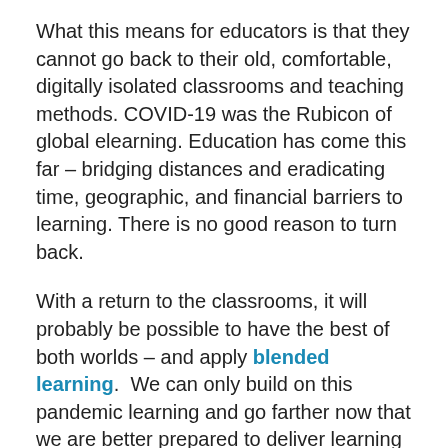What this means for educators is that they cannot go back to their old, comfortable, digitally isolated classrooms and teaching methods. COVID-19 was the Rubicon of global elearning. Education has come this far – bridging distances and eradicating time, geographic, and financial barriers to learning. There is no good reason to turn back.
With a return to the classrooms, it will probably be possible to have the best of both worlds – and apply blended learning.  We can only build on this pandemic learning and go farther now that we are better prepared to deliver learning regardless of whatever calamities or pandemic might strike the world in the future.
What shape will elearning and asynchronous learning evolve into? Is EdTech and the infusion of technology into classrooms the future of Learning Management Systems? We may not have to wait for the COVID pandemic to end before we see the answer to these